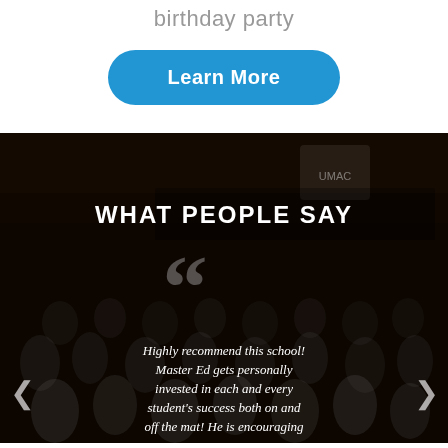birthday party
[Figure (other): Blue rounded rectangle button with white text 'Learn More']
[Figure (photo): Dark background photo of a karate dojo with many students in white uniforms sitting on the floor, with a semi-transparent dark overlay. Contains a section header 'WHAT PEOPLE SAY', large decorative quotation marks, and a testimonial quote: 'Highly recommend this school! Master Ed gets personally invested in each and every student's success both on and off the mat! He is encouraging and supportive. He's energetic,' with left and right navigation arrows.]